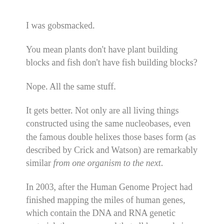I was gobsmacked.
You mean plants don't have plant building blocks and fish don't have fish building blocks?
Nope. All the same stuff.
It gets better. Not only are all living things constructed using the same nucleobases, even the famous double helixes those bases form (as described by Crick and Watson) are remarkably similar from one organism to the next.
In 2003, after the Human Genome Project had finished mapping the miles of human genes, which contain the DNA and RNA genetic material, they announced that all human beings share 99.9% of their genetic material, only a tiny proportion is different from one person to the next; and humans and chimpanzees share 96% of their genetic